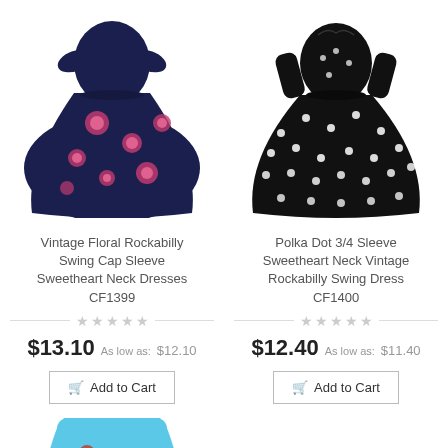[Figure (photo): Vintage floral navy blue rockabilly swing dress with cap sleeves and sweetheart neckline, shown as product photo]
Vintage Floral Rockabilly Swing Cap Sleeve Sweetheart Neck Dresses CF1399
★★★★★ (empty stars rating)
$13.10  As low as: $12.10
Add to Cart
[Figure (photo): Black and white polka dot 3/4 sleeve sweetheart neck vintage rockabilly swing dress, shown as product photo]
Polka Dot 3/4 Sleeve Sweetheart Neck Vintage Rockabilly Swing Dress CF1400
★★★★★ (empty stars rating)
$12.40  As low as: $11.40
Add to Cart
[Figure (photo): Partial view of a blue dress at the bottom of the page]